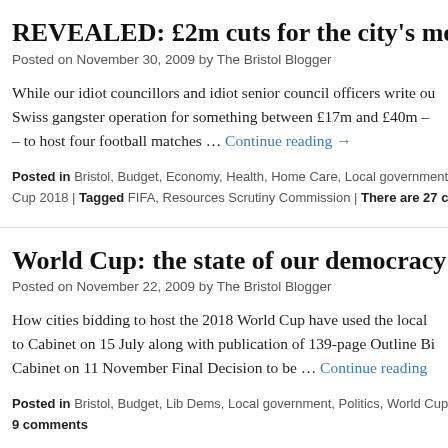REVEALED: £2m cuts for the city's most
Posted on November 30, 2009 by The Bristol Blogger
While our idiot councillors and idiot senior council officers write ou Swiss gangster operation for something between £17m and £40m – – to host four football matches … Continue reading →
Posted in Bristol, Budget, Economy, Health, Home Care, Local government, Cup 2018 | Tagged FIFA, Resources Scrutiny Commission | There are 27 co
World Cup: the state of our democracy w
Posted on November 22, 2009 by The Bristol Blogger
How cities bidding to host the 2018 World Cup have used the local to Cabinet on 15 July along with publication of 139-page Outline Bi Cabinet on 11 November Final Decision to be … Continue reading
Posted in Bristol, Budget, Lib Dems, Local government, Politics, World Cup 9 comments